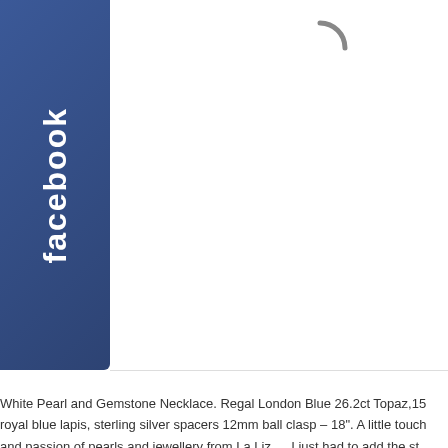[Figure (logo): Facebook logo sidebar in blue, text rotated vertically reading 'facebook']
[Figure (other): Loading spinner (circular arc, gray) in top center area]
White Pearl and Gemstone Necklace. Regal London Blue 26.2ct Topaz,15 royal blue lapis, sterling silver spacers 12mm ball clasp – 18". A little touch and passion of pearls and jewellery from La Liz ….I just had to add the st here that just …
READ MORE    Price: $1720.00
Triana Necklace
Posted DEC 15 2010 by JULLEEN in MABES & PEARL, WHITE with 0 COMMENTS